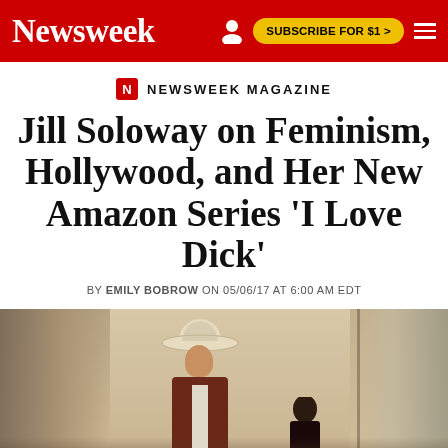Newsweek | SUBSCRIBE FOR $1 >
NEWSWEEK MAGAZINE
Jill Soloway on Feminism, Hollywood, and Her New Amazon Series 'I Love Dick'
BY EMILY BOBROW ON 05/06/17 AT 6:00 AM EDT
[Figure (photo): Two people in a rustic interior setting; one person wearing a white cowboy hat and brown jacket stands prominently; another person is partially visible to the right.]